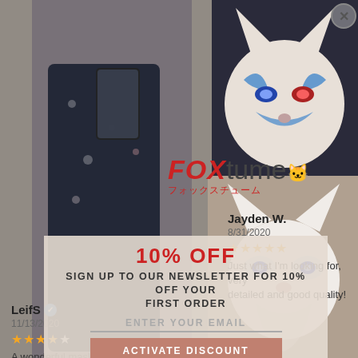[Figure (photo): Screenshot of an e-commerce product review page for a fox costume/mask shop called FOXtume, overlaid with a newsletter popup offering 10% off. Left side shows a person in a floral kimono taking a mirror selfie. Top right shows a glowing blue/red fox mask. Bottom right shows a white fox mask/plushie. Reviews from Jayden W. (5 stars, 8/31/2020), LeifS (4 stars, 11/13/2020), and Sylvester N. (4/3/2022) are visible. A newsletter signup popup overlay is in the center-bottom area.]
FOX
tume
フォックスチューム
Jayden W.
8/31/2020
★★★★★
Just what I'm looking for, very detailed and good quality!
10% OFF
SIGN UP TO OUR NEWSLETTER FOR 10% OFF YOUR FIRST ORDER
ENTER YOUR EMAIL
ACTIVATE DISCOUNT
LeifS
11/13/2020
★★★★☆
A wonderful mask for any event. The bell string is a bit short, but it's an easy fix. Wonderfully painted too.
Sylvester N.
4/3/2022